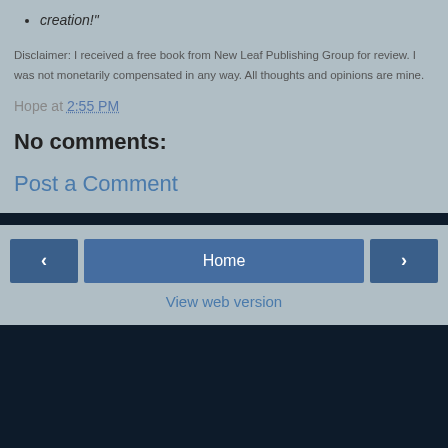creation!"
Disclaimer: I received a free book from New Leaf Publishing Group for review. I was not monetarily compensated in any way. All thoughts and opinions are mine.
Hope at 2:55 PM
No comments:
Post a Comment
‹
Home
›
View web version